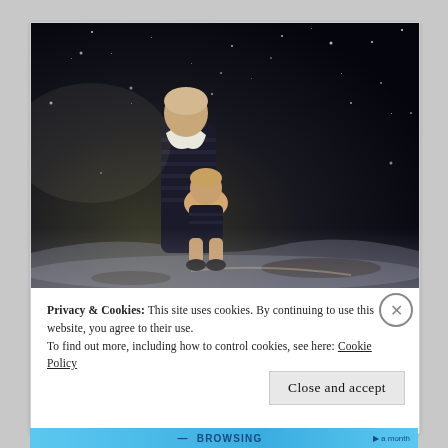[Figure (photo): A person (child or young figure) sitting outdoors at night in a snowy scene, wearing a striped dress and white scarf, looking upward at a dark starry sky. Snow or snowflakes visible in the background.]
Privacy & Cookies: This site uses cookies. By continuing to use this website, you agree to their use.
To find out more, including how to control cookies, see here: Cookie Policy
Close and accept